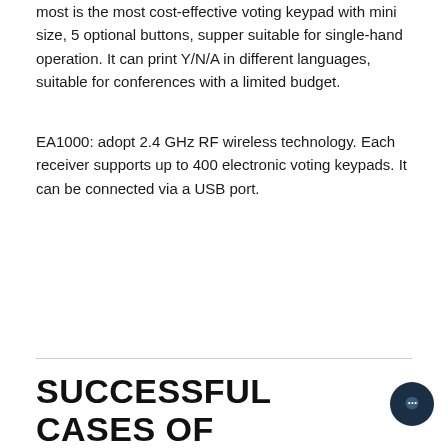most is the most cost-effective voting keypad with mini size, 5 optional buttons, supper suitable for single-hand operation. It can print Y/N/A in different languages, suitable for conferences with a limited budget.
EA1000: adopt 2.4 GHz RF wireless technology. Each receiver supports up to 400 electronic voting keypads. It can be connected via a USB port.
SUCCESSFUL CASES OF